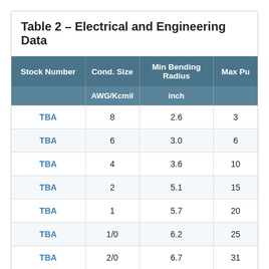| Stock Number | Cond. Size
AWG/Kcmil | Min Bending Radius
inch | Max Pu |
| --- | --- | --- | --- |
| TBA | 8 | 2.6 | 3 |
| TBA | 6 | 3.0 | 6 |
| TBA | 4 | 3.6 | 10 |
| TBA | 2 | 5.1 | 15 |
| TBA | 1 | 5.7 | 20 |
| TBA | 1/0 | 6.2 | 25 |
| TBA | 2/0 | 6.7 | 31 |
| TBA | 3/0 | 7.2 | 40 |